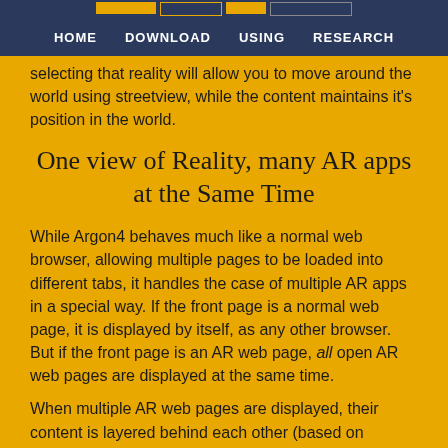HOME  DOWNLOAD  USING  RESEARCH
selecting that reality will allow you to move around the world using streetview, while the content maintains it's position in the world.
One view of Reality, many AR apps at the Same Time
While Argon4 behaves much like a normal web browser, allowing multiple pages to be loaded into different tabs, it handles the case of multiple AR apps in a special way. If the front page is a normal web page, it is displayed by itself, as any other browser. But if the front page is an AR web page, all open AR web pages are displayed at the same time.
When multiple AR web pages are displayed, their content is layered behind each other (based on